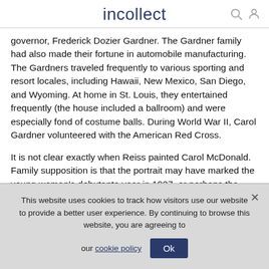incollect
governor, Frederick Dozier Gardner. The Gardner family had also made their fortune in automobile manufacturing. The Gardners traveled frequently to various sporting and resort locales, including Hawaii, New Mexico, San Diego, and Wyoming. At home in St. Louis, they entertained frequently (the house included a ballroom) and were especially fond of costume balls. During World War II, Carol Gardner volunteered with the American Red Cross.
It is not clear exactly when Reiss painted Carol McDonald. Family supposition is that the portrait may have marked the young woman's debutante year in 1927, or perhaps the
This website uses cookies to track how visitors use our website to provide a better user experience. By continuing to browse this website, you are agreeing to our cookie policy  Ok